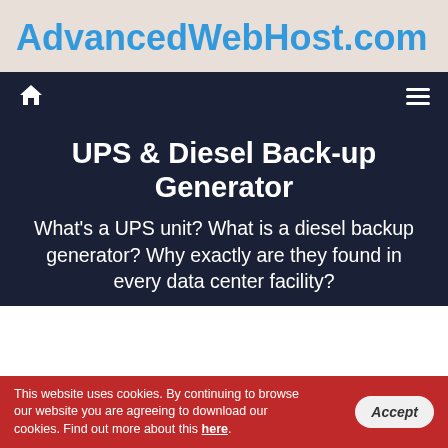AdvancedWebHost.com
UPS & Diesel Back-up Generator
What's a UPS unit? What is a diesel backup generator? Why exactly are they found in every data center facility?
This website uses cookies. By continuing to browse our website you are agreeing to download our cookies. Find out more about this here.